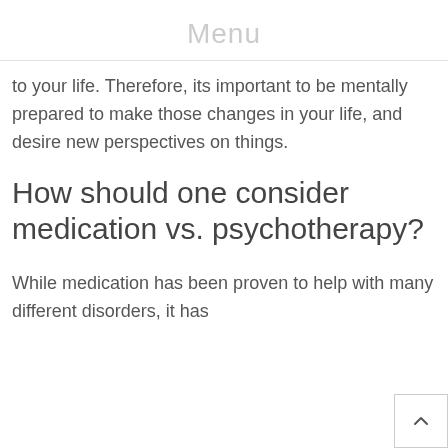Menu
to your life. Therefore, its important to be mentally prepared to make those changes in your life, and desire new perspectives on things.
How should one consider medication vs. psychotherapy?
While medication has been proven to help with many different disorders, it has